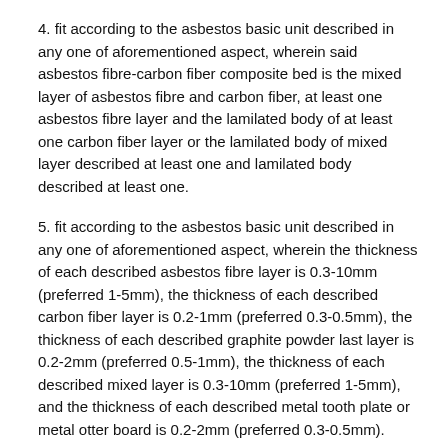4. fit according to the asbestos basic unit described in any one of aforementioned aspect, wherein said asbestos fibre-carbon fiber composite bed is the mixed layer of asbestos fibre and carbon fiber, at least one asbestos fibre layer and the lamilated body of at least one carbon fiber layer or the lamilated body of mixed layer described at least one and lamilated body described at least one.
5. fit according to the asbestos basic unit described in any one of aforementioned aspect, wherein the thickness of each described asbestos fibre layer is 0.3-10mm (preferred 1-5mm), the thickness of each described carbon fiber layer is 0.2-1mm (preferred 0.3-0.5mm), the thickness of each described graphite powder last layer is 0.2-2mm (preferred 0.5-1mm), the thickness of each described mixed layer is 0.3-10mm (preferred 1-5mm), and the thickness of each described metal tooth plate or metal otter board is 0.2-2mm (preferred 0.3-0.5mm).
6. the manufacture method of an asbestos basic unit zoarium, it is characterized in that, comprise the step of laminated powdered graphite layer (preferred expanded graphite powder layer) on the one or both sides of